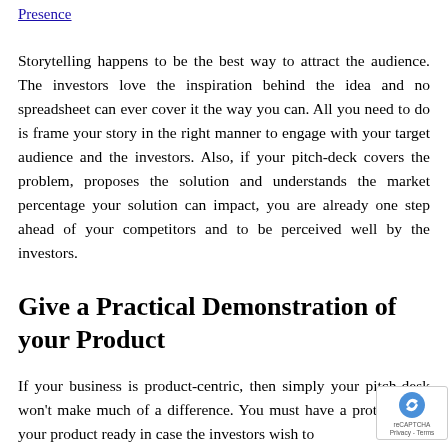Presence
Storytelling happens to be the best way to attract the audience. The investors love the inspiration behind the idea and no spreadsheet can ever cover it the way you can. All you need to do is frame your story in the right manner to engage with your target audience and the investors. Also, if your pitch-deck covers the problem, proposes the solution and understands the market percentage your solution can impact, you are already one step ahead of your competitors and to be perceived well by the investors.
Give a Practical Demonstration of your Product
If your business is product-centric, then simply your pitch-desk won't make much of a difference. You must have a prototype of your product ready in case the investors wish to